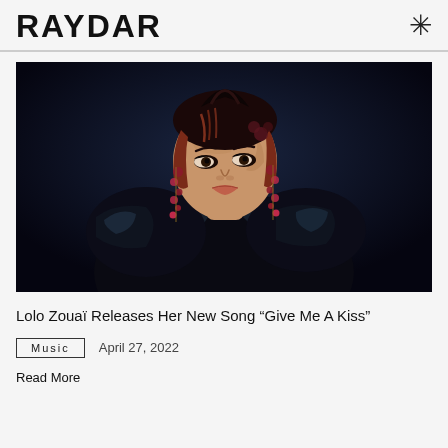RAYDAR
[Figure (photo): Portrait photo of Lolo Zouaï wearing a shiny black puffed-sleeve jacket, auburn hair with dark roots, large jeweled earrings, against a dark background]
Lolo Zouaï Releases Her New Song “Give Me A Kiss”
Music   April 27, 2022
Read More